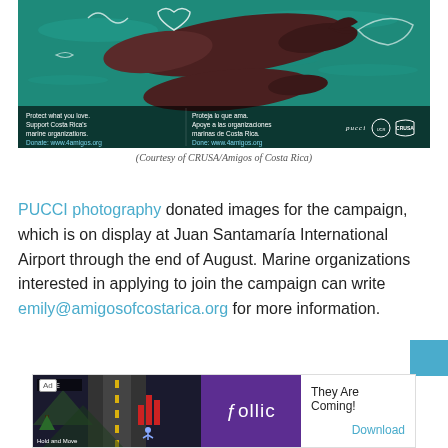[Figure (photo): Aerial photograph of two whales swimming in teal/green ocean water. Overlay text in black semi-transparent bar at bottom reads: 'Protect what you love. Support Costa Rica's marine organizations. Donate: www.4amigos.org' and 'Proteja lo que ama. Apoye a las organizaciones marinas de Costa Rica. Done: www.4amigos.org' with logos for pucci, UCR, and CRUSA.]
(Courtesy of CRUSA/Amigos of Costa Rica)
PUCCI photography donated images for the campaign, which is on display at Juan Santamaría International Airport through the end of August. Marine organizations interested in applying to join the campaign can write emily@amigosofcostarica.org for more information.
[Figure (other): Advertisement banner for 'follic' game app. Shows 'Ad' label, game screenshot on left, purple follic logo in center, text 'They Are Coming!' and 'Download' link on right.]